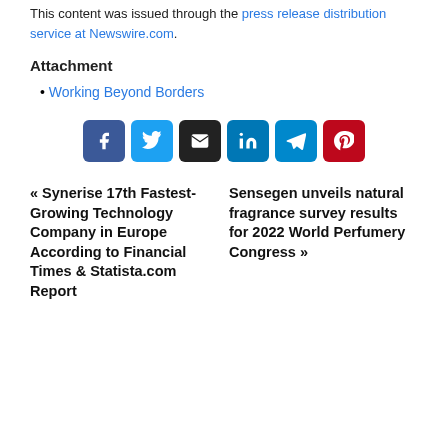This content was issued through the press release distribution service at Newswire.com.
Attachment
Working Beyond Borders
[Figure (other): Social share buttons: Facebook, Twitter, Email, LinkedIn, Telegram, Pinterest]
« Synerise 17th Fastest-Growing Technology Company in Europe According to Financial Times & Statista.com Report   Sensegen unveils natural fragrance survey results for 2022 World Perfumery Congress »